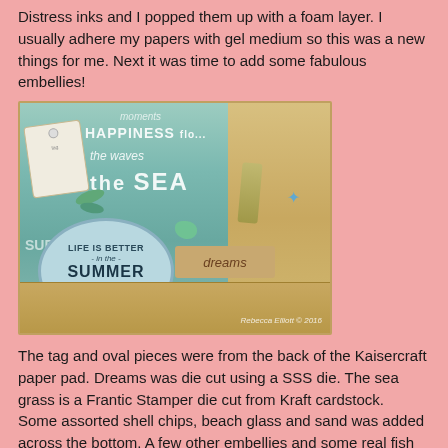Distress inks and I popped them up with a foam layer. I usually adhere my papers with gel medium so this was a new things for me. Next it was time to add some fabulous embellies!
[Figure (photo): A beach-themed craft canvas showing a scrapbook layout with teal/aqua background paper with text reading HAPPINESS, the waves, the SEA, a circular tag saying LIFE IS BETTER in the SUMMER with anchor, a kraft tag saying dreams, sea glass, starfish embellishment, sea grass die cut, shell chips and sand along the bottom. Signed Rebecca Elliott 2016.]
The tag and oval pieces were from the back of the Kaisercraft paper pad. Dreams was die cut using a SSS die. The sea grass is a Frantic Stamper die cut from Kraft cardstock.  Some assorted shell chips, beach glass and sand was added across the bottom. A few other embellies and some real fish net rounded out the canvas!